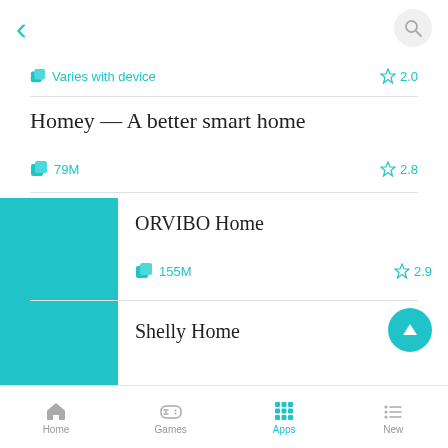[Figure (screenshot): Mobile app store listing screenshot showing back arrow and search button in top bar]
Varies with device  2.0
Homey — A better smart home
79M  2.8
[Figure (illustration): Teal/cyan square app icon for ORVIBO Home]
ORVIBO Home
155M  2.9
[Figure (illustration): Teal/cyan square app icon for Shelly Home]
Shelly Home
Home   Games   Apps   New